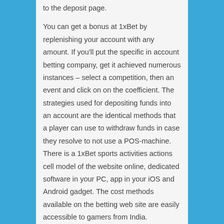to the deposit page.

You can get a bonus at 1xBet by replenishing your account with any amount. If you'll put the specific in account betting company, get it achieved numerous instances – select a competition, then an event and click on on the coefficient. The strategies used for depositing funds into an account are the identical methods that a player can use to withdraw funds in case they resolve to not use a POS-machine. There is a 1xBet sports activities actions cell model of the website online, dedicated software in your PC, app in your iOS and Android gadget. The cost methods available on the betting web site are easily accessible to gamers from India.